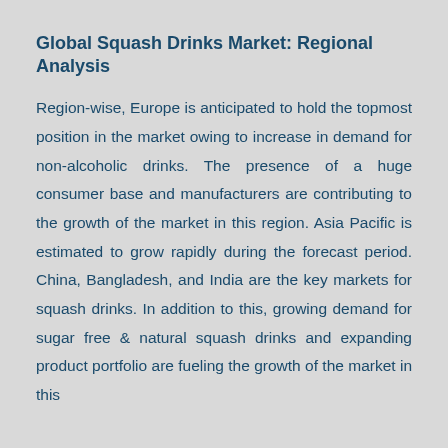Global Squash Drinks Market: Regional Analysis
Region-wise, Europe is anticipated to hold the topmost position in the market owing to increase in demand for non-alcoholic drinks. The presence of a huge consumer base and manufacturers are contributing to the growth of the market in this region. Asia Pacific is estimated to grow rapidly during the forecast period. China, Bangladesh, and India are the key markets for squash drinks. In addition to this, growing demand for sugar free & natural squash drinks and expanding product portfolio are fueling the growth of the market in this